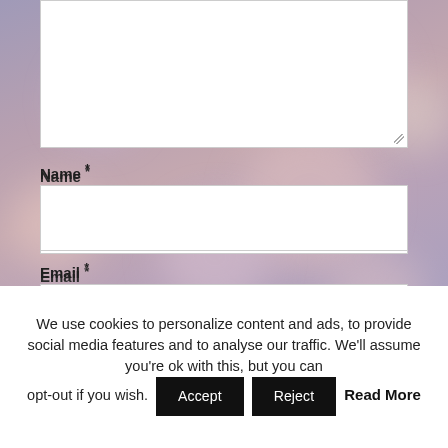[Figure (screenshot): Web form with bokeh background showing textarea, Name field, Email field, and Website field input boxes on a blurred bokeh light background]
We use cookies to personalize content and ads, to provide social media features and to analyse our traffic. We'll assume you're ok with this, but you can opt-out if you wish. Accept Reject Read More